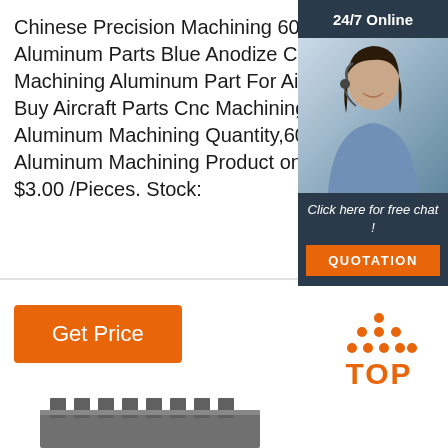Chinese Precision Machining 6061 Aluminum Parts Blue Anodize Cnc Milling Machining Aluminum Part For Aircraft - Buy Aircraft Parts Cnc Machining 7075 Aluminum Machining Quantity,6061 7075 Aluminum Machining Product on Waima $3.00 /Pieces. Stock:
[Figure (photo): Customer service representative with headset smiling, overlaid with dark blue panel showing 24/7 Online text and a free chat / quotation button]
Get Price
[Figure (illustration): TOP badge with orange dots arranged in triangle above the word TOP in orange bold letters]
[Figure (photo): Metal gear or machined aluminum part, partially visible at bottom of page]